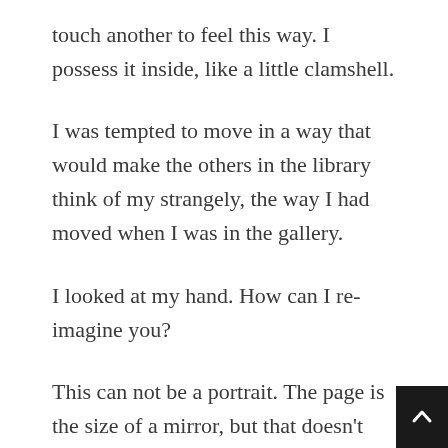touch another to feel this way. I possess it inside, like a little clamshell.
I was tempted to move in a way that would make the others in the library think of my strangely, the way I had moved when I was in the gallery.
I looked at my hand. How can I re-imagine you?
This can not be a portrait. The page is the size of a mirror, but that doesn't mean anything. Once I looked at my arm